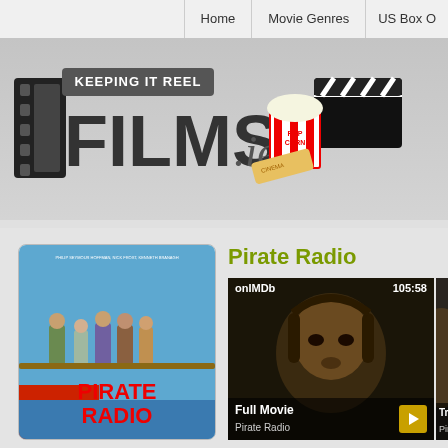Home | Movie Genres | US Box O
[Figure (logo): Films.ie logo with 'Keeping It Reel' tagline, film strip graphic, popcorn and film clapperboard illustration]
Pirate Radio
[Figure (photo): Pirate Radio movie poster showing cast walking on a boat plank with large red text 'PIRATE RADIO']
[Figure (screenshot): Video thumbnail labeled 'Full Movie - Pirate Radio' on IMDb, showing a close-up face in sepia tone, duration 105:58]
[Figure (screenshot): Partial video thumbnail labeled 'Tra... Pirate...' showing a partial view]